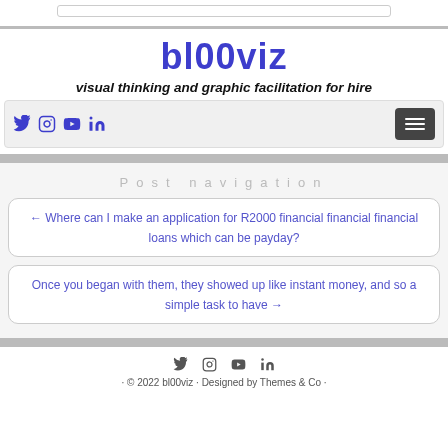bl00viz - visual thinking and graphic facilitation for hire
bl00viz
visual thinking and graphic facilitation for hire
[Figure (screenshot): Navigation bar with social media icons (Twitter, Instagram, YouTube, LinkedIn) on the left and a hamburger menu button on the right]
Post navigation
← Where can I make an application for R2000 financial financial financial loans which can be payday?
Once you began with them, they showed up like instant money, and so a simple task to have →
· © 2022 bl00viz · Designed by Themes & Co ·